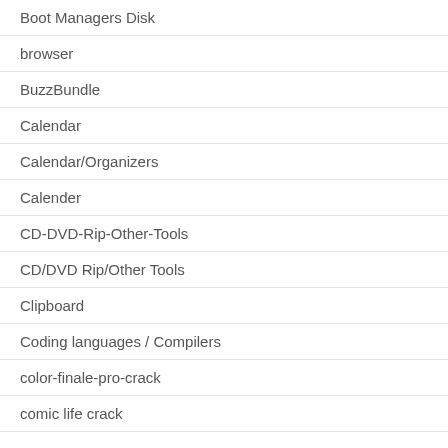Boot Managers Disk
browser
BuzzBundle
Calendar
Calendar/Organizers
Calender
CD-DVD-Rip-Other-Tools
CD/DVD Rip/Other Tools
Clipboard
Coding languages / Compilers
color-finale-pro-crack
comic life crack